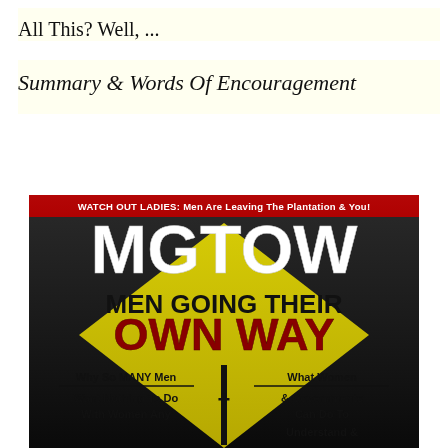All This? Well, ...
Summary & Words Of Encouragement
[Figure (illustration): Book cover for MGTOW: Men Going Their Own Way. Red banner at top reads 'WATCH OUT LADIES: Men Are Leaving The Plantation & You!'. Large white bold text MGTOW. Below: MEN GOING THEIR OWN WAY in black bold on dark background with yellow warning-sign shape. Bottom text left: 'Why So MANY Men Want Nothing To Do With Women Any'. Bottom text right: 'What Women & Governments Can Do To Understand &'. Dark moody background with yellow hazard-diamond shape.]